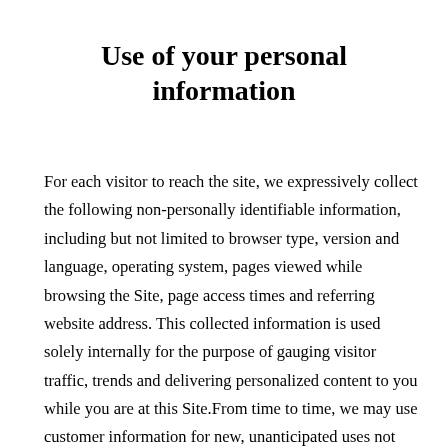Use of your personal information
For each visitor to reach the site, we expressively collect the following non-personally identifiable information, including but not limited to browser type, version and language, operating system, pages viewed while browsing the Site, page access times and referring website address. This collected information is used solely internally for the purpose of gauging visitor traffic, trends and delivering personalized content to you while you are at this Site.From time to time, we may use customer information for new, unanticipated uses not previously disclosed in our privacy notice. If our